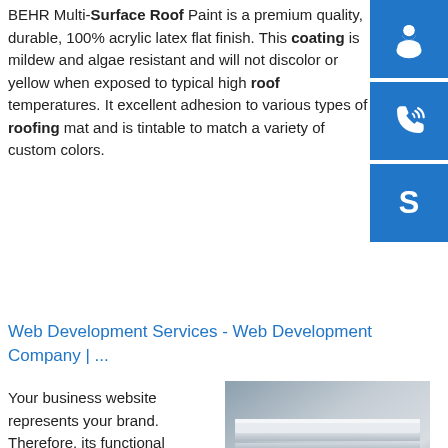BEHR Multi-Surface Roof Paint is a premium quality, durable, 100% acrylic latex flat finish. This coating is mildew and algae resistant and will not discolor or yellow when exposed to typical high roof temperatures. It excellent adhesion to various types of roofing mat and is tintable to match a variety of custom colors.
[Figure (illustration): Three blue square buttons stacked vertically on the right side: headset/support icon, phone with signal waves icon, and Skype logo icon]
Web Development Services - Web Development Company | ...
Your business website represents your brand. Therefore, its functional efficiency is important for your market reputation. Our web development services helps you to develop websites that comply with current industry standards, providing a seamless experience to your end-users.. Our web developers create high-performing websites using
[Figure (photo): Photo of stacked metallic/aluminum sheets or panels on a surface]